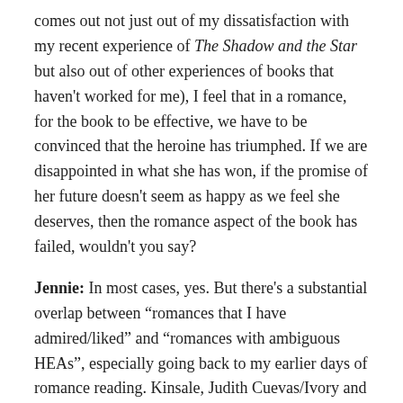comes out not just out of my dissatisfaction with my recent experience of The Shadow and the Star but also out of other experiences of books that haven't worked for me), I feel that in a romance, for the book to be effective, we have to be convinced that the heroine has triumphed. If we are disappointed in what she has won, if the promise of her future doesn't seem as happy as we feel she deserves, then the romance aspect of the book has failed, wouldn't you say?
Jennie: In most cases, yes. But there's a substantial overlap between "romances that I have admired/liked" and "romances with ambiguous HEAs", especially going back to my earlier days of romance reading. Kinsale, Judith Cuevas/Ivory and especially Megan Chance all have romances where I could say that the promise of a happy future is less than solid (especially for the heroine, though not exclusively).
Janine: On an unrelated topic, there was one way in which I